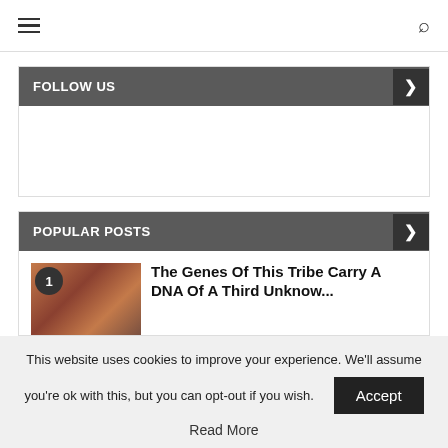≡  🔍
FOLLOW US
POPULAR POSTS
The Genes Of This Tribe Carry A DNA Of A Third Unknown...
This website uses cookies to improve your experience. We'll assume you're ok with this, but you can opt-out if you wish.
Read More